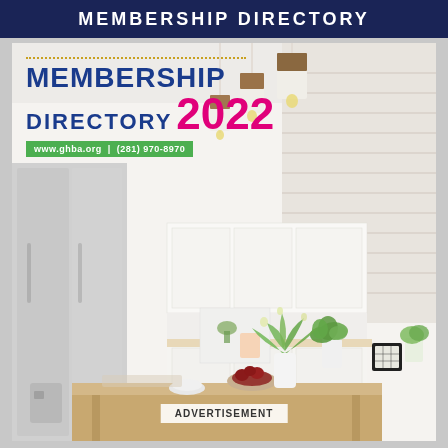MEMBERSHIP DIRECTORY
[Figure (illustration): Cover page of GHBA 2022 Membership Directory showing a modern white kitchen interior with pendant lights, a stainless steel refrigerator, kitchen island with wood top, a plant, and fruit bowls. Overlay text reads MEMBERSHIP DIRECTORY 2022 with website www.ghba.org and phone (281) 970-8970.]
MEMBERSHIP DIRECTORY 2022
www.ghba.org  |  (281) 970-8970
ADVERTISEMENT